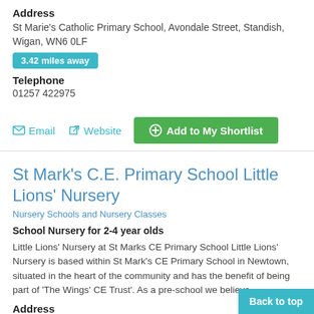Address
St Marie's Catholic Primary School, Avondale Street, Standish, Wigan, WN6 0LF
3.42 miles away
Telephone
01257 422975
Email   Website   Add to My Shortlist
St Mark's C.E. Primary School Little Lions' Nursery
Nursery Schools and Nursery Classes
School Nursery for 2-4 year olds
Little Lions' Nursery at St Marks CE Primary School Little Lions' Nursery is based within St Mark's CE Primary School in Newtown, situated in the heart of the community and has the benefit of being part of 'The Wings' CE Trust'. As a pre-school we believe...
Address
Alexandra Street, Wigan, WIGAN, LANCASHIRE, WN5
Back to top